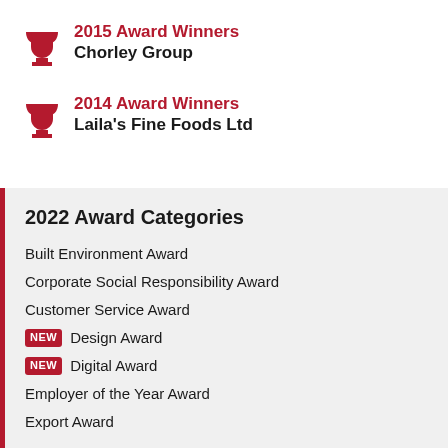2015 Award Winners
Chorley Group
2014 Award Winners
Laila's Fine Foods Ltd
2022 Award Categories
Built Environment Award
Corporate Social Responsibility Award
Customer Service Award
NEW Design Award
NEW Digital Award
Employer of the Year Award
Export Award